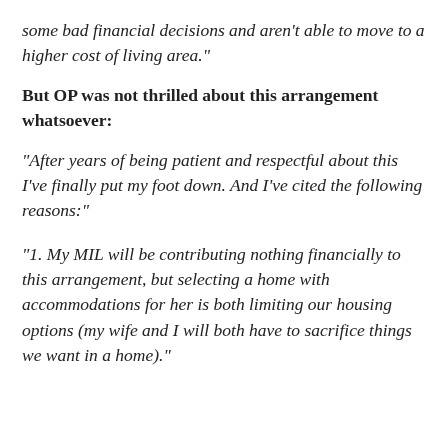“my MIL can afford to move on her own, they made some bad financial decisions and aren’t able to move to a higher cost of living area.”
But OP was not thrilled about this arrangement whatsoever:
“After years of being patient and respectful about this I’ve finally put my foot down. And I’ve cited the following reasons:”
“1. My MIL will be contributing nothing financially to this arrangement, but selecting a home with accommodations for her is both limiting our housing options (my wife and I will both have to sacrifice things we want in a home).”